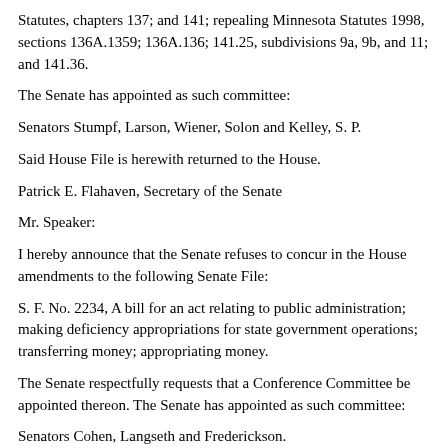Statutes, chapters 137; and 141; repealing Minnesota Statutes 1998, sections 136A.1359; 136A.136; 141.25, subdivisions 9a, 9b, and 11; and 141.36.
The Senate has appointed as such committee:
Senators Stumpf, Larson, Wiener, Solon and Kelley, S. P.
Said House File is herewith returned to the House.
Patrick E. Flahaven, Secretary of the Senate
Mr. Speaker:
I hereby announce that the Senate refuses to concur in the House amendments to the following Senate File:
S. F. No. 2234, A bill for an act relating to public administration; making deficiency appropriations for state government operations; transferring money; appropriating money.
The Senate respectfully requests that a Conference Committee be appointed thereon. The Senate has appointed as such committee:
Senators Cohen, Langseth and Frederickson.